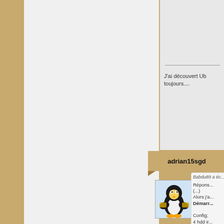J'ai découvert Ub... toujours....
adrian15sgd
[Figure (illustration): Tux penguin avatar holding something, colored illustration]
Babdu89 a éc...
Répons... (...) Alors j'a... Démarr... Config; 4 hdd ir... 2 hdd u... La clé u... bios_Le... et Bios_... Lancem...